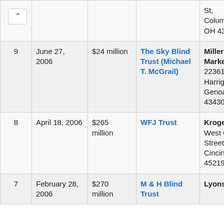| # | Date | Amount | Trust/Buyer | Company/Address |
| --- | --- | --- | --- | --- |
|  |  |  |  | St, Columbus, OH 43213 |
| 9 | June 27, 2006 | $24 million | The Sky Blind Trust (Michael T. McGrail) | Millers New Market , 22361 W Harrigan Rd, Genoa, OH 43430 |
| 8 | April 18, 2006 | $265 million | WFJ Trust | Kroger , West Corry Street, Cincinnati, OH 45219 |
| 7 | February 28, 2006 | $270 million | M & H Blind Trust | Lyons Ma Stop , |